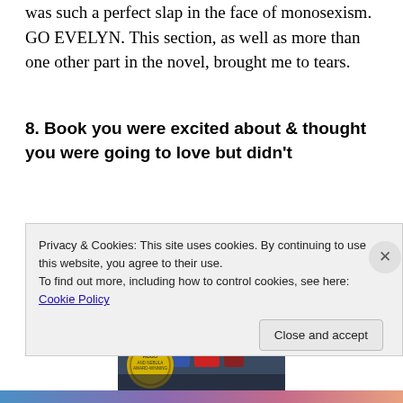was such a perfect slap in the face of monosexism. GO EVELYN. This section, as well as more than one other part in the novel, brought me to tears.
8. Book you were excited about & thought you were going to love but didn't
[Figure (photo): Book cover with text 'THE NEW YORK TIMES BESTSELLING SERIES' at top, 'ASSURED, GRIPPING AND STYLISH' quote, and Hugo and Nebula Award-Winning badge at bottom left, showing sci-fi imagery with space and robotic/mechanical figures.]
Privacy & Cookies: This site uses cookies. By continuing to use this website, you agree to their use.
To find out more, including how to control cookies, see here: Cookie Policy
Close and accept